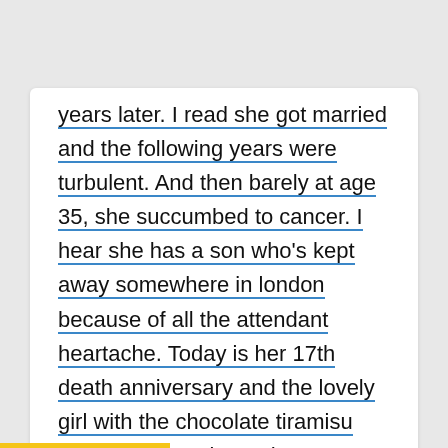years later. I read she got married and the following years were turbulent. And then barely at age 35, she succumbed to cancer. I hear she has a son who's kept away somewhere in london because of all the attendant heartache. Today is her 17th death anniversary and the lovely girl with the chocolate tiramisu vocals will stay in our hearts forever.
A post shared by Jitesh Pillai (@jiteshpillaai) on Aug 13, 2017 ...